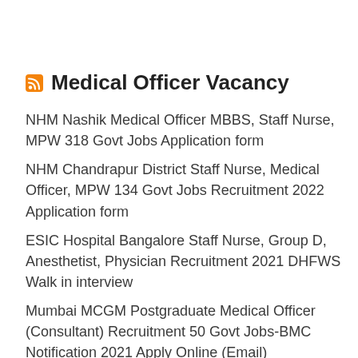Medical Officer Vacancy
NHM Nashik Medical Officer MBBS, Staff Nurse, MPW 318 Govt Jobs Application form
NHM Chandrapur District Staff Nurse, Medical Officer, MPW 134 Govt Jobs Recruitment 2022 Application form
ESIC Hospital Bangalore Staff Nurse, Group D, Anesthetist, Physician Recruitment 2021 DHFWS Walk in interview
Mumbai MCGM Postgraduate Medical Officer (Consultant) Recruitment 50 Govt Jobs-BMC Notification 2021 Apply Online (Email)
Nagapattinam District Staff Nurse, Lab Technician, Doctor,